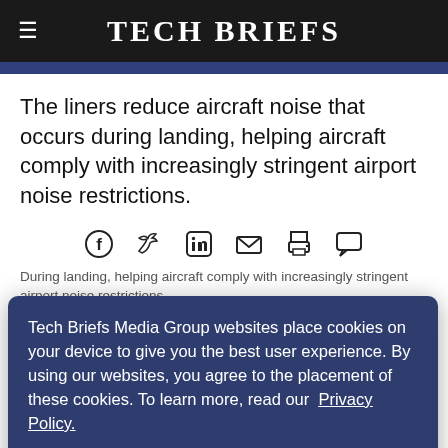Tech Briefs
The liners reduce aircraft noise that occurs during landing, helping aircraft comply with increasingly stringent airport noise restrictions.
[Figure (infographic): Social media sharing icons: Facebook, Twitter, LinkedIn, Email, Print, Comment]
Tech Briefs Media Group websites place cookies on your device to give you the best user experience. By using our websites, you agree to the placement of these cookies. To learn more, read our Privacy Policy.
During landing, helping aircraft comply with increasingly stringent airport noise restrictions. The two implementations are the side edge liners and ... for airframe noise reduction. In these applications the acoustic liner is designed primarily to reduce aircraft noise that occurs during landing,